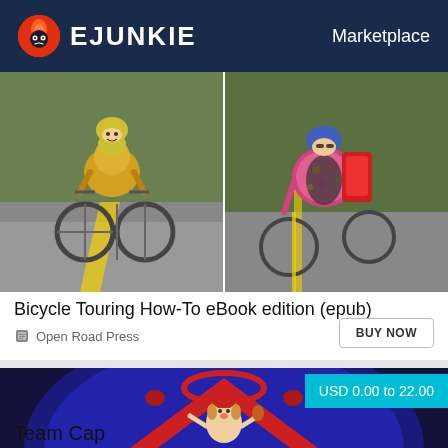EJUNKIE  Marketplace
[Figure (photo): Two cyclists on a road: left cyclist in yellow jacket, right cyclist in colorful jersey with backpack]
Bicycle Touring How-To eBook edition (epub)
Open Road Press
[Figure (photo): Dark navy blue cycling cap/jersey with cartoon dog mascot logo on red V-shaped design]
USD 0.00 to 22.00
Team Cap